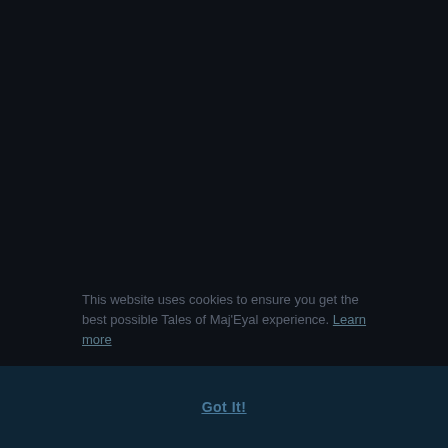This website uses cookies to ensure you get the best possible Tales of Maj'Eyal experience. Learn more
Got It!